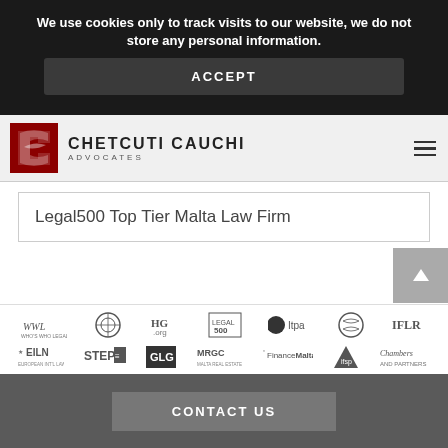We use cookies only to track visits to our website, we do not store any personal information.
ACCEPT
[Figure (logo): Chetcuti Cauchi Advocates logo with red geometric icon]
Legal500 Top Tier Malta Law Firm
[Figure (logo): Row of partner/association logos: WWL, International circle logo, HG.org, Legal500, Itpa, International flag association, IFLR, EILN, STEP, GLG, MRGC, FinanceMalta, ifsp, Chambers and Partners]
CONTACT US